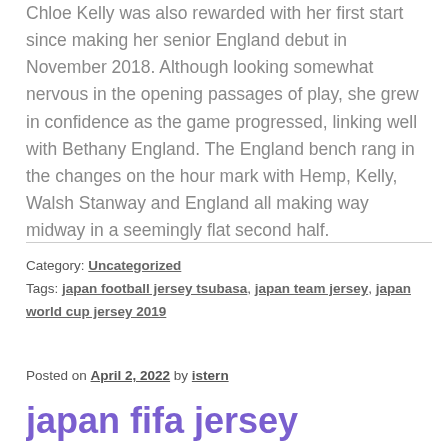Chloe Kelly was also rewarded with her first start since making her senior England debut in November 2018. Although looking somewhat nervous in the opening passages of play, she grew in confidence as the game progressed, linking well with Bethany England. The England bench rang in the changes on the hour mark with Hemp, Kelly, Walsh Stanway and England all making way midway in a seemingly flat second half.
Category: Uncategorized
Tags: japan football jersey tsubasa, japan team jersey, japan world cup jersey 2019
Posted on April 2, 2022 by istern
japan fifa jersey